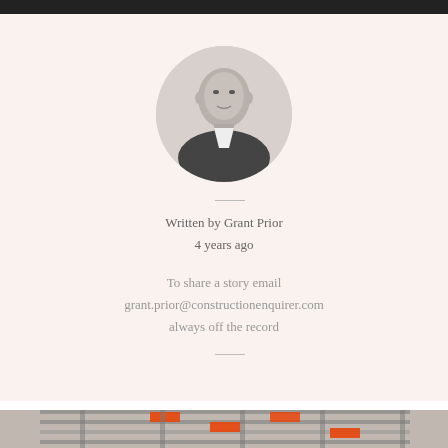[Figure (photo): Top navigation bar dark background strip]
[Figure (photo): Circular black-and-white headshot of Grant Prior, a bald man in a dark suit and white shirt, on a light pink/cream background]
Written by Grant Prior
4 years ago
To share a story email grant.prior@constructionenquirer.com always off the record
[Figure (photo): Partial photo of construction scaffolding or building structure with orange elements at bottom of page]